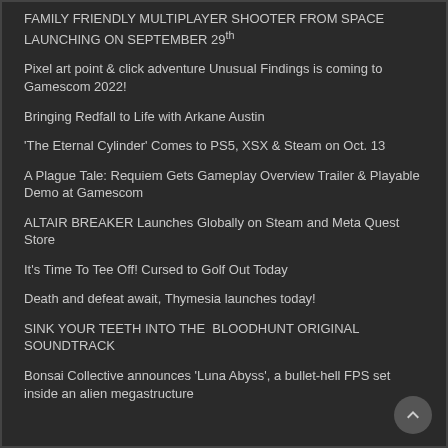FAMILY FRIENDLY MULTIPLAYER SHOOTER FROM SPACE LAUNCHING ON SEPTEMBER 29th
Pixel art point & click adventure Unusual Findings is coming to Gamescom 2022!
Bringing Redfall to Life with Arkane Austin
'The Eternal Cylinder' Comes to PS5, XSX & Steam on Oct. 13
A Plague Tale: Requiem Gets Gameplay Overview Trailer & Playable Demo at Gamescom
ALTAIR BREAKER Launches Globally on Steam and Meta Quest Store
It's Time To Tee Off! Cursed to Golf Out Today
Death and defeat await, Thymesia launches today!
SINK YOUR TEETH INTO THE  BLOODHUNT ORIGINAL SOUNDTRACK
Bonsai Collective announces 'Luna Abyss', a bullet-hell FPS set inside an alien megastructure